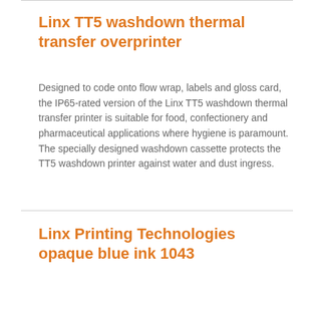Linx TT5 washdown thermal transfer overprinter
Designed to code onto flow wrap, labels and gloss card, the IP65-rated version of the Linx TT5 washdown thermal transfer printer is suitable for food, confectionery and pharmaceutical applications where hygiene is paramount. The specially designed washdown cassette protects the TT5 washdown printer against water and dust ingress.
Linx Printing Technologies opaque blue ink 1043